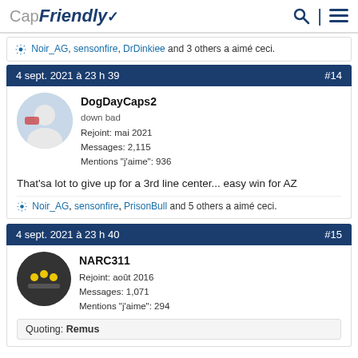CapFriendly
Noir_AG, sensonfire, DrDinkiee and 3 others a aimé ceci.
4 sept. 2021 à 23 h 39  #14
DogDayCaps2
down bad
Rejoint: mai 2021
Messages: 2,115
Mentions "j'aime": 936
That'sa lot to give up for a 3rd line center... easy win for AZ
Noir_AG, sensonfire, PrisonBull and 5 others a aimé ceci.
4 sept. 2021 à 23 h 40  #15
NARC311
Rejoint: août 2016
Messages: 1,071
Mentions "j'aime": 294
Quoting: Remus